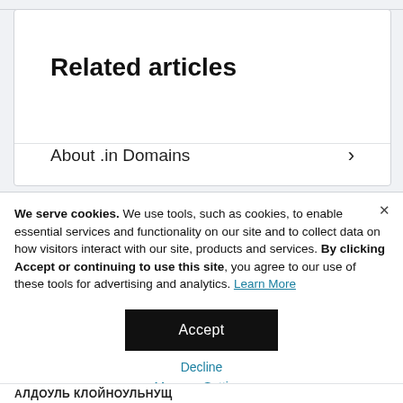Related articles
About .in Domains
We serve cookies. We use tools, such as cookies, to enable essential services and functionality on our site and to collect data on how visitors interact with our site, products and services. By clicking Accept or continuing to use this site, you agree to our use of these tools for advertising and analytics. Learn More
Accept
Decline
Manage Settings